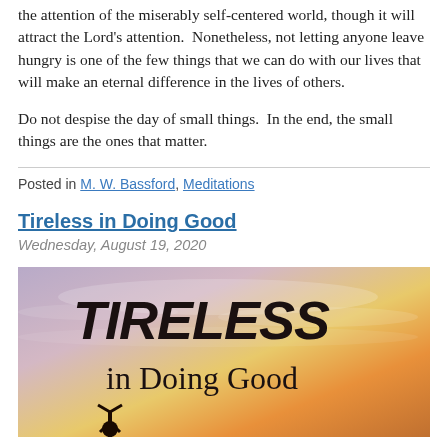the attention of the miserably self-centered world, though it will attract the Lord's attention. Nonetheless, not letting anyone leave hungry is one of the few things that we can do with our lives that will make an eternal difference in the lives of others.
Do not despise the day of small things. In the end, the small things are the ones that matter.
Posted in M. W. Bassford, Meditations
Tireless in Doing Good
Wednesday, August 19, 2020
[Figure (illustration): Book cover or blog post image with text 'TIRELESS in Doing Good' over a sunset sky background with a silhouette of a person at the bottom.]